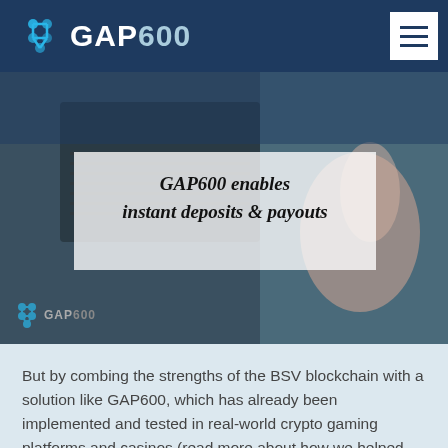[Figure (screenshot): GAP600 website header with logo (hexagonal blue icon and GAP600 text in white on dark navy background) and hamburger menu icon on right]
[Figure (screenshot): Hero banner image showing a person at laptop with overlay text box reading 'GAP600 enables instant deposits & payouts' in bold italic serif font on semi-transparent white background, with GAP600 watermark logo at bottom left]
But by combing the strengths of the BSV blockchain with a solution like GAP600, which has already been implemented and tested in real-world crypto gaming platforms and casinos (read more about how we helped DuckDice and CoinsPaid revolutionize their CX), platforms can create a customer experience that meets player expectations and their demand for instant gratification.